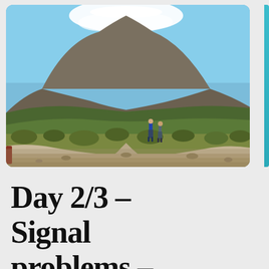[Figure (photo): Outdoor landscape photograph showing a snow-capped mountain (likely Mount Kilimanjaro) in the background with a clear blue sky. The foreground shows a dirt trail winding through scrubby moorland vegetation. Two hikers with backpacks are visible in the middle distance. The terrain is rocky and arid in the lower portions.]
Day 2/3 – Signal problems – Wed 9/Thur